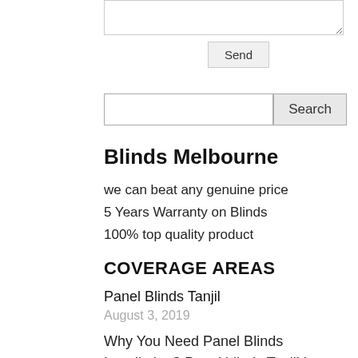[textarea / Send button UI element]
[Search input and Search button UI element]
Blinds Melbourne
we can beat any genuine price
5 Years Warranty on Blinds
100% top quality product
COVERAGE AREAS
Panel Blinds Tanjil
August 3, 2019
Why You Need Panel Blinds Installation? Panel blinds Tanjil is considered best suited for modern interior environments but panel blinds can also go